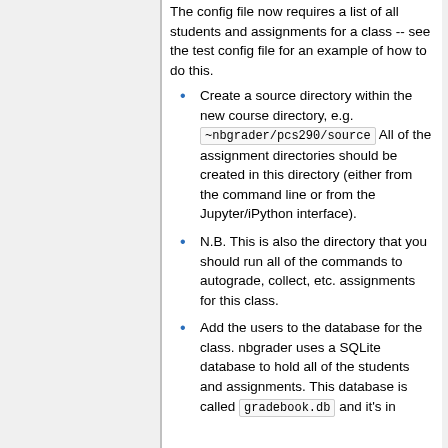The config file now requires a list of all students and assignments for a class -- see the test config file for an example of how to do this.
Create a source directory within the new course directory, e.g. ~nbgrader/pcs290/source All of the assignment directories should be created in this directory (either from the command line or from the Jupyter/iPython interface).
N.B. This is also the directory that you should run all of the commands to autograde, collect, etc. assignments for this class.
Add the users to the database for the class. nbgrader uses a SQLite database to hold all of the students and assignments. This database is called gradebook.db and it's in